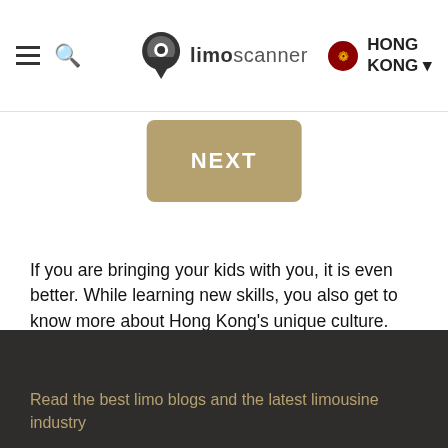limoscanner — HONG KONG
[Figure (other): NEXT button — a tan/khaki colored rectangular button with rounded corners and white bold text reading NEXT]
If you are bringing your kids with you, it is even better. While learning new skills, you also get to know more about Hong Kong's unique culture. This is the perfect place for art lovers or those who are interested to learn new skills. You also have a local chauffeur who can help you avoid traffic. You just have to inform us what you need and when you want the service. The limo service will also help you if you decide to cross the border. They know their way around Hong Kong and moving from one district to another won't be a problem for them.
Read the best limo blogs and the latest limousine industry